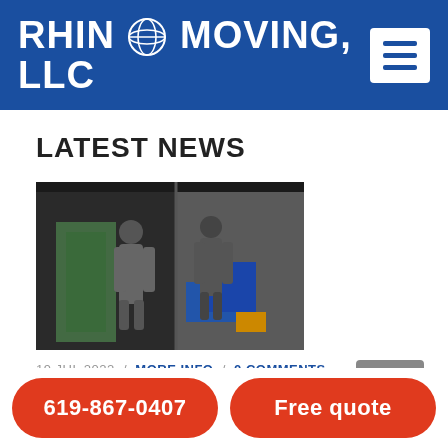RHINO MOVING, LLC
LATEST NEWS
[Figure (photo): Two movers loading or unloading a moving truck with furniture and boxes]
19 JUL 2022 / MORE INFO / 0 COMMENTS
Local Moving Company in San Diego
[Figure (photo): Two people standing outdoors near tall buildings, partially visible]
619-867-0407 | Free quote